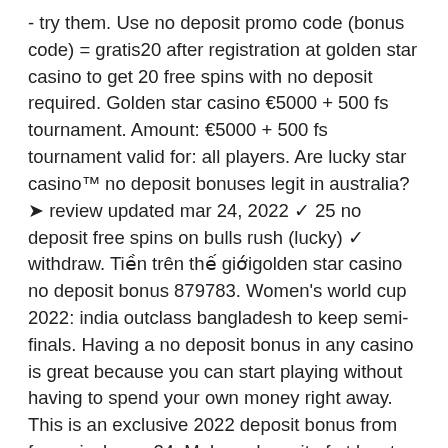- try them. Use no deposit promo code (bonus code) = gratis20 after registration at golden star casino to get 20 free spins with no deposit required. Golden star casino €5000 + 500 fs tournament. Amount: €5000 + 500 fs tournament valid for: all players. Are lucky star casino™ no deposit bonuses legit in australia? ➤ review updated mar 24, 2022 ✓ 25 no deposit free spins on bulls rush (lucky) ✓ withdraw. Tiền trên thế giớigolden star casino no deposit bonus 879783. Women's world cup 2022: india outclass bangladesh to keep semi-finals. Having a no deposit bonus in any casino is great because you can start playing without having to spend your own money right away. This is an exclusive 2022 deposit bonus from freespinsbonus24. Make a deposit of at least 20€ and receive your casino bonus. Golden star casino no deposit bonus codes | january 2022. Please note: this casino does not accept players from united states of america